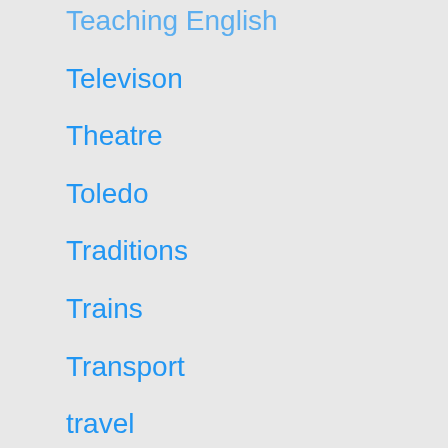Teaching English
Televison
Theatre
Toledo
Traditions
Trains
Transport
travel
Travel
Uncategorized
Valencia
Valencia
Vermut
Walking